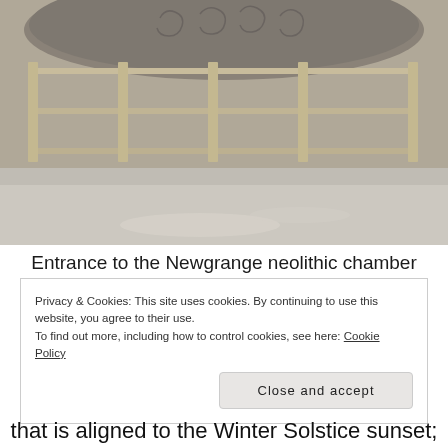[Figure (photo): Photograph of the entrance to the Newgrange neolithic chamber, showing a large decorated stone with spiral carvings behind a wooden fence barrier, with gravel ground in front.]
Entrance to the Newgrange neolithic chamber
Privacy & Cookies: This site uses cookies. By continuing to use this website, you agree to their use.
To find out more, including how to control cookies, see here: Cookie Policy
that is aligned to the Winter Solstice sunset;